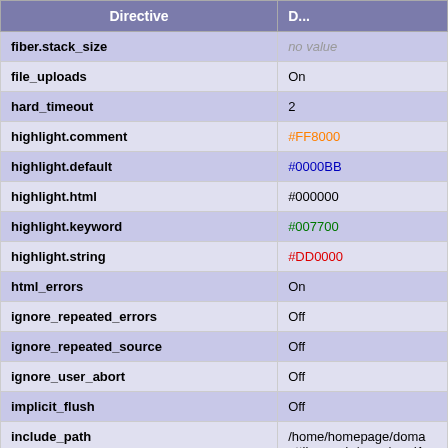| Directive | D... |
| --- | --- |
| fiber.stack_size | no value |
| file_uploads | On |
| hard_timeout | 2 |
| highlight.comment | #FF8000 |
| highlight.default | #0000BB |
| highlight.html | #000000 |
| highlight.keyword | #007700 |
| highlight.string | #DD0000 |
| html_errors | On |
| ignore_repeated_errors | Off |
| ignore_repeated_source | Off |
| ignore_user_abort | Off |
| implicit_flush | Off |
| include_path | /home/homepage/doma ettlingen.de/www/prod1 ge/domains/_all/prod1/i s/_all/prod1/template:/h d1/jpgraph:.: |
| input_encoding | no value |
| internal_encoding | no value |
| log_errors | On |